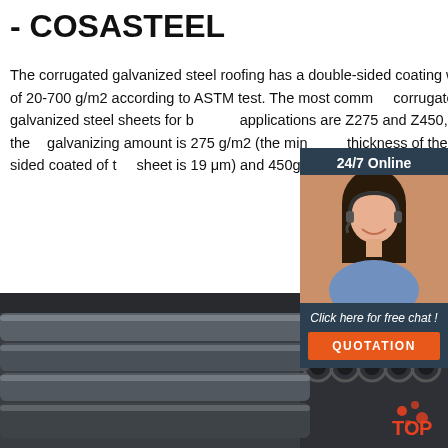- COSASTEEL
The corrugated galvanized steel roofing has a double-sided coating weight of 20-700 g/m2 according to ASTM test. The most common corrugated galvanized steel sheets for building applications are Z275 and Z450, and the galvanizing amount is 275 g/m2 (the min thickness of the single-sided coated of the sheet is 19 μm) and 450g/m2.
[Figure (other): Customer service agent chat widget with '24/7 Online' label, agent photo, 'Click here for free chat!' text, and orange QUOTATION button]
[Figure (photo): Steel pipes/tubes stacked together, dark metallic industrial photo with TOP logo overlay in bottom right corner]
Get Price